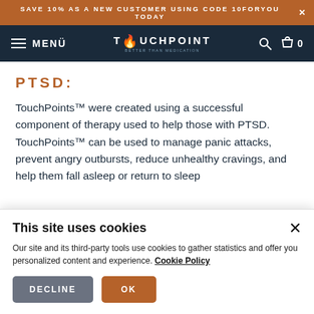SAVE 10% AS A NEW CUSTOMER USING CODE 10FORYOU TODAY
MENÜ | TOUCHPOINT | 0
PTSD:
TouchPoints™ were created using a successful component of therapy used to help those with PTSD. TouchPoints™ can be used to manage panic attacks, prevent angry outbursts, reduce unhealthy cravings, and help them fall asleep or return to sleep if they wake during the night.
This site uses cookies
Our site and its third-party tools use cookies to gather statistics and offer you personalized content and experience. Cookie Policy
DECLINE | OK